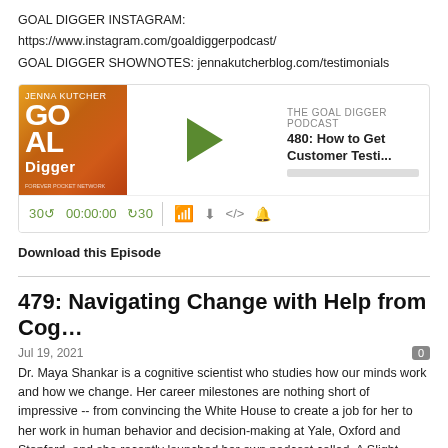GOAL DIGGER INSTAGRAM: https://www.instagram.com/goaldiggerpodcast/
GOAL DIGGER SHOWNOTES: jennakutcherblog.com/testimonials
[Figure (screenshot): Podcast player widget for 'The Goal Digger Podcast', episode 480: How to Get Customer Testi... with play button, progress bar, and playback controls showing 00:00:00]
Download this Episode
479: Navigating Change with Help from Cog...
Jul 19, 2021
Dr. Maya Shankar is a cognitive scientist who studies how our minds work and how we change. Her career milestones are nothing short of impressive -- from convincing the White House to create a job for her to her work in human behavior and decision-making at Yale, Oxford and Stanford, and she recently launched her own podcast called, A Slight Change of Plans.
Dr. Shankar is on Goal Digger to explore the sometimes stress-inducing topic of change. When confronted with a major life or career change, how do we manage and thrive? Are humans today more or less change averse? And if